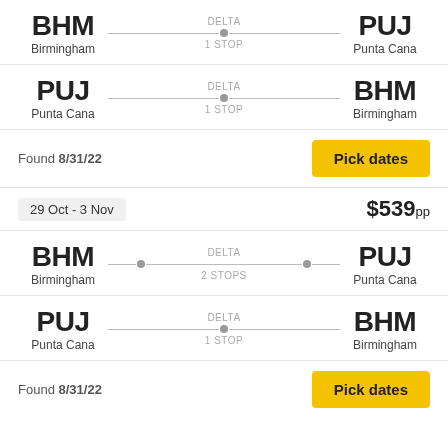BHM Birmingham → PUJ Punta Cana, DELTA, 1 STOP
PUJ Punta Cana → BHM Birmingham, DELTA, 1 STOP
Found 8/31/22
Pick dates
29 Oct - 3 Nov
$539pp
BHM Birmingham → PUJ Punta Cana, DELTA, 2 STOPS
PUJ Punta Cana → BHM Birmingham, DELTA, 1 STOP
Found 8/31/22
Pick dates